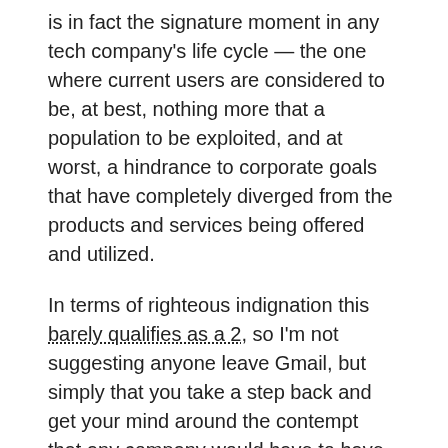is in fact the signature moment in any tech company's life cycle — the one where current users are considered to be, at best, nothing more that a population to be exploited, and at worst, a hindrance to corporate goals that have completely diverged from the products and services being offered and utilized.
In terms of righteous indignation this barely qualifies as a 2, so I'm not suggesting anyone leave Gmail, but simply that you take a step back and get your mind around the contempt that any company would have to have in order to suddenly change the portal to your email account. Because those are the same people who have said they are not reading your hosted emails, or personally identifying your web traffic, or doing anything else